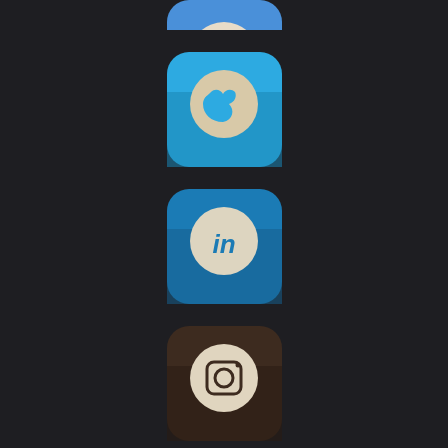[Figure (logo): Partial social media icon (cropped at top, appears to be Facebook blue)]
[Figure (logo): Twitter app icon — rounded square with light blue gradient background and white bird logo]
[Figure (logo): LinkedIn app icon — rounded square with blue gradient background and 'in' logo]
[Figure (logo): Instagram app icon — rounded square with dark brown background and vintage camera logo]
Latest from Lisa's Blog:
:)
To Blog or Not To Blog August 23, 2022
Young People's Theatre Training – ImPort Stanley August 19, 2022